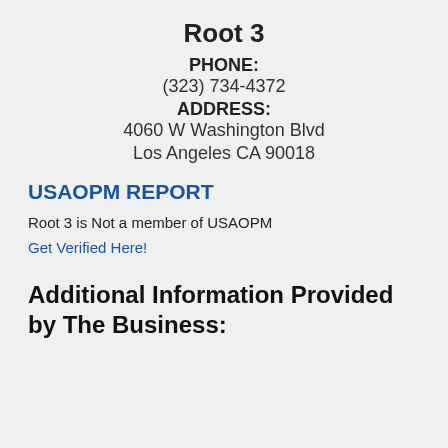Root 3
PHONE:
(323) 734-4372
ADDRESS:
4060 W Washington Blvd
Los Angeles CA 90018
USAOPM REPORT
Root 3 is Not a member of USAOPM
Get Verified Here!
Additional Information Provided by The Business: